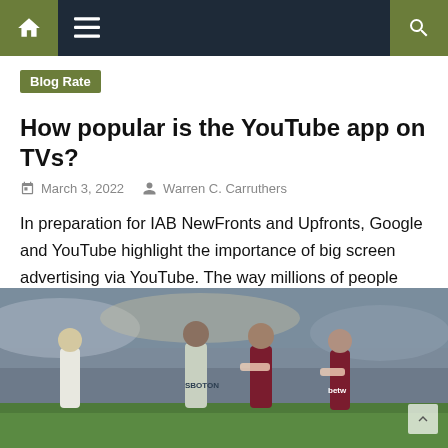Navigation bar with home, menu, and search icons
Blog Rate
How popular is the YouTube app on TVs?
March 3, 2022   Warren C. Carruthers
In preparation for IAB NewFronts and Upfronts, Google and YouTube highlight the importance of big screen advertising via YouTube. The way millions of people around the world watch television has changed dramatically over the past decade. Connected TVs and streaming services allow consumers to watch what they want, when they want. That, in turn, means [...]
[Figure (photo): Soccer players in a match, two players in dark maroon/claret and blue strip competing against a player in white Leeds United strip, with crowd in background]